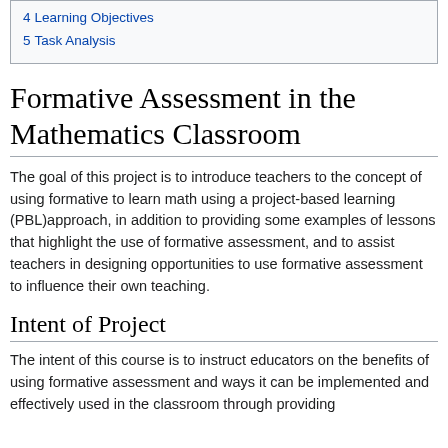4 Learning Objectives
5 Task Analysis
Formative Assessment in the Mathematics Classroom
The goal of this project is to introduce teachers to the concept of using formative to learn math using a project-based learning (PBL)approach, in addition to providing some examples of lessons that highlight the use of formative assessment, and to assist teachers in designing opportunities to use formative assessment to influence their own teaching.
Intent of Project
The intent of this course is to instruct educators on the benefits of using formative assessment and ways it can be implemented and effectively used in the classroom through providing